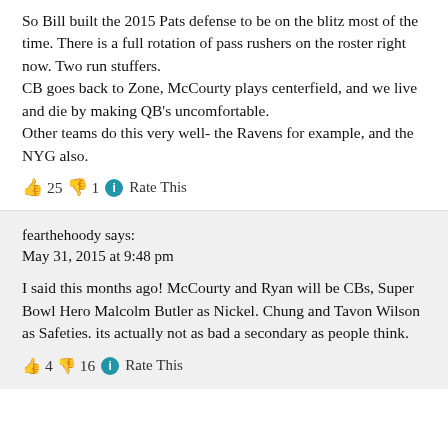So Bill built the 2015 Pats defense to be on the blitz most of the time. There is a full rotation of pass rushers on the roster right now. Two run stuffers.
CB goes back to Zone, McCourty plays centerfield, and we live and die by making QB's uncomfortable.
Other teams do this very well- the Ravens for example, and the NYG also.
👍 25 👎 1 ℹ Rate This
fearthehoody says:
May 31, 2015 at 9:48 pm
I said this months ago! McCourty and Ryan will be CBs, Super Bowl Hero Malcolm Butler as Nickel. Chung and Tavon Wilson as Safeties. its actually not as bad a secondary as people think.
👍 4 👎 16 ℹ Rate This